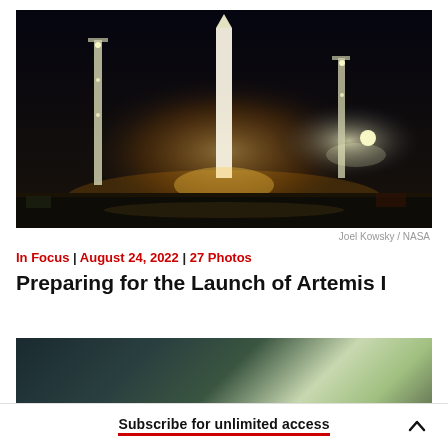[Figure (photo): Night photo of NASA Artemis I rocket on launch pad with lights illuminating towers and ground, dark sky background]
Joel Kowsky / NASA
In Focus | August 24, 2022 | 27 Photos
Preparing for the Launch of Artemis I
[Figure (photo): Partially visible second photo, appears to show green/teal sky scene]
Subscribe for unlimited access